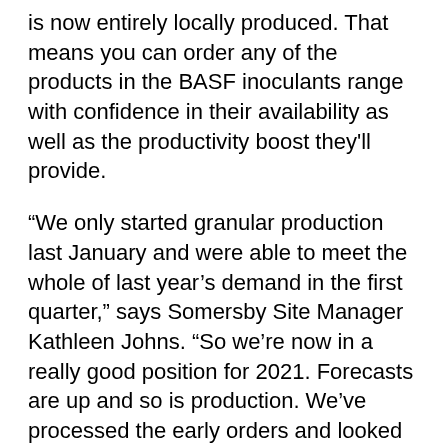is now entirely locally produced. That means you can order any of the products in the BASF inoculants range with confidence in their availability as well as the productivity boost they'll provide.
“We only started granular production last January and were able to meet the whole of last year’s demand in the first quarter,” says Somersby Site Manager Kathleen Johns. “So we’re now in a really good position for 2021. Forecasts are up and so is production. We’ve processed the early orders and looked at the forecasts and planned accordingly. Our products are starting to go out now and we expect the whole process to go very smoothly.”
Granular inoculants produced offshore have increased their market share over the last decade or so at the expense of inoculants cultured here using local